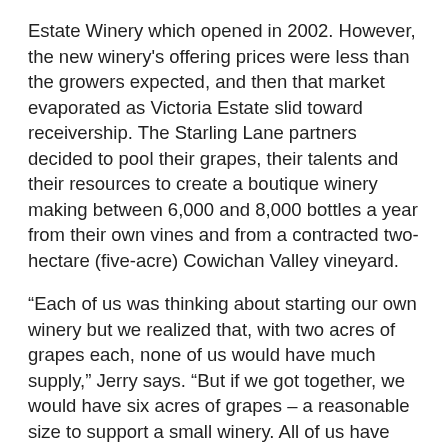Estate Winery which opened in 2002. However, the new winery's offering prices were less than the growers expected, and then that market evaporated as Victoria Estate slid toward receivership. The Starling Lane partners decided to pool their grapes, their talents and their resources to create a boutique winery making between 6,000 and 8,000 bottles a year from their own vines and from a contracted two-hectare (five-acre) Cowichan Valley vineyard.
“Each of us was thinking about starting our own winery but we realized that, with two acres of grapes each, none of us would have much supply,” Jerry says. “But if we got together, we would have six acres of grapes – a reasonable size to support a small winery. All of us have some sort of history in winemaking. The other thing is that we are similar in age. We were looking at the transition from professional careers and had a desire to spend a little more time growing grapes and drinking wine.”
The winery works because the partners have talents that support each other and a shared passion for growing good grapes. That calls for unusual commitment, given the